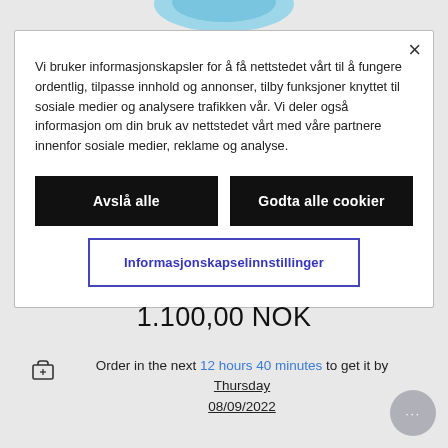[Figure (screenshot): Blue circular product image partially visible at top of page]
Vi bruker informasjonskapsler for å få nettstedet vårt til å fungere ordentlig, tilpasse innhold og annonser, tilby funksjoner knyttet til sosiale medier og analysere trafikken vår. Vi deler også informasjon om din bruk av nettstedet vårt med våre partnere innenfor sosiale medier, reklame og analyse.
Avslå alle
Godta alle cookier
Informasjonskapselinnstillinger
1.100,00 NOK
Order in the next 12 hours 40 minutes to get it by Thursday 08/09/2022